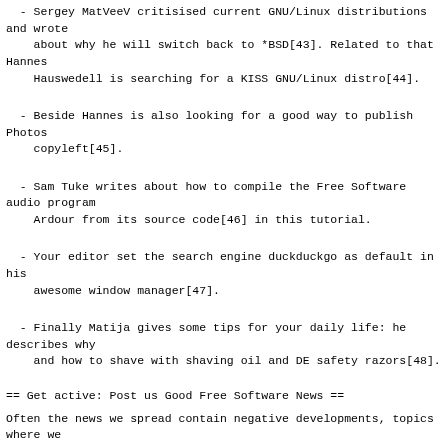- Sergey MatVeeV critisised current GNU/Linux distributions and wrote
    about why he will switch back to *BSD[43]. Related to that Hannes
    Hauswedell is searching for a KISS GNU/Linux distro[44].
- Beside Hannes is also looking for a good way to publish Photos
    copyleft[45].
- Sam Tuke writes about how to compile the Free Software audio program
    Ardour from its source code[46] in this tutorial.
- Your editor set the search engine duckduckgo as default in his
    awesome window manager[47].
- Finally Matija gives some tips for your daily life: he describes why
    and how to shave with shaving oil and DE safety razors[48].
== Get active: Post us Good Free Software News ==
Often the news we spread contain negative developments, topics where we